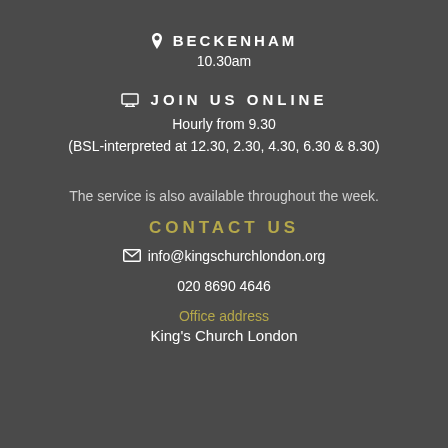📍 BECKENHAM
10.30am
🖥 JOIN US ONLINE
Hourly from 9.30
(BSL-interpreted at 12.30, 2.30, 4.30, 6.30 & 8.30)
The service is also available throughout the week.
CONTACT US
info@kingschurchlondon.org
020 8690 4646
Office address
King's Church London